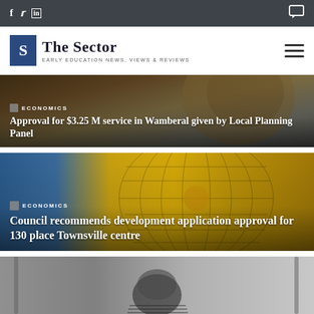The Sector — Early Education News, Views & Reviews
[Figure (photo): Article card with dark brownish background: ECONOMICS tag and headline 'Approval for $3.25 M service in Wamberal given by Local Planning Panel']
[Figure (photo): Article card with golden yellow globe/network background: ECONOMICS tag and headline 'Council recommends development application approval for 130 place Townsville centre']
[Figure (photo): Article card with black and white photo of child on playground equipment, partially visible]